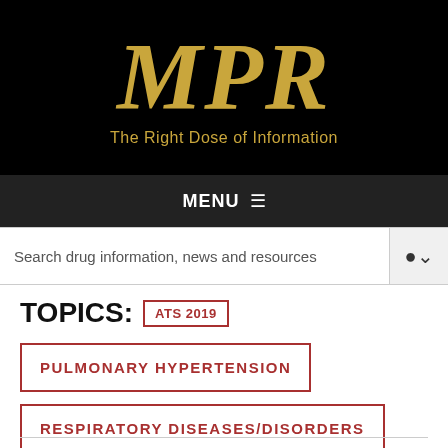[Figure (logo): MPR logo with tagline 'The Right Dose of Information' on black background]
MENU ≡
Search drug information, news and resources
TOPICS: ATS 2019
PULMONARY HYPERTENSION
RESPIRATORY DISEASES/DISORDERS